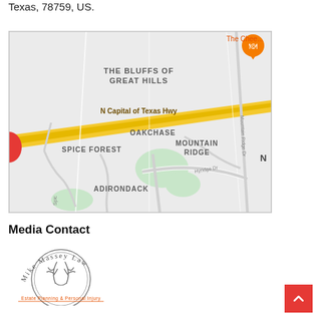Texas, 78759, US.
[Figure (map): Google Maps screenshot showing the area around N Capital of Texas Hwy in Austin, Texas. Neighborhoods visible include The Bluffs of Great Hills, Oakchase, Mountain Ridge, Spice Forest, and Adirondack. A restaurant pin is shown in the upper right. Roads include Mountain Ridge Dr and Hyridge Dr.]
Media Contact
[Figure (logo): Mike Massey Law logo - circular text reading 'Mike Massey Law' with antler graphic and subtitle 'Estate Planning & Personal Injury']